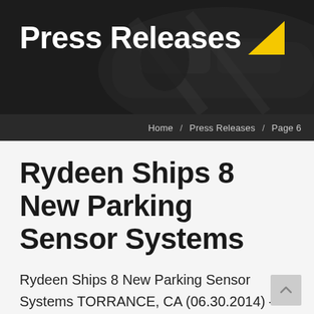Press Releases
Home / Press Releases / Page 6
Rydeen Ships 8 New Parking Sensor Systems
Rydeen Ships 8 New Parking Sensor Systems TORRANCE, CA (06.30.2014) – Rydeen Mobile Electronics announced it has upgraded its complete line of add-on parking sensor systems. The Southern California-based supplier of premium